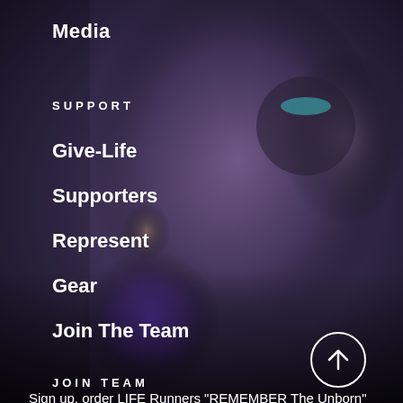[Figure (photo): Blurry background photo of people hugging or embracing at a running/sports event, dark tones with purple shirt visible]
Media
SUPPORT
Give-Life
Supporters
Represent
Gear
Join The Team
JOIN TEAM
Sign up, order LIFE Runners "REMEMBER The Unborn" jersey,